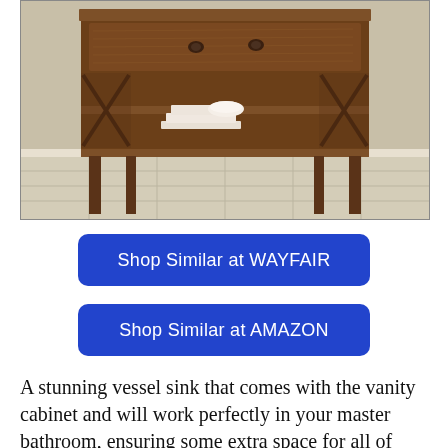[Figure (photo): Photograph of a dark wooden bathroom vanity cabinet with X-cross decorative side panels, two drawers with round knobs, and a lower open shelf holding folded white towels and a bar of soap. The cabinet sits on a light grey tile floor against a neutral beige wall.]
Shop Similar at WAYFAIR
Shop Similar at AMAZON
A stunning vessel sink that comes with the vanity cabinet and will work perfectly in your master bathroom, ensuring some extra space for all of your